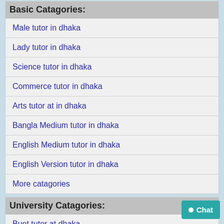Basic Catagories:
Male tutor in dhaka
Lady tutor in dhaka
Science tutor in dhaka
Commerce tutor in dhaka
Arts tutor at in dhaka
Bangla Medium tutor in dhaka
English Medium tutor in dhaka
English Version tutor in dhaka
More catagories
University Catagories:
Buet tutor at dhaka
Dhaka university tutor at dhaka
Dhaka medical college tutor at dhaka